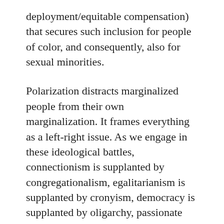deployment/equitable compensation) that secures such inclusion for people of color, and consequently, also for sexual minorities.
Polarization distracts marginalized people from their own marginalization. It frames everything as a left-right issue. As we engage in these ideological battles, connectionism is supplanted by congregationalism, egalitarianism is supplanted by cronyism, democracy is supplanted by oligarchy, passionate volunteer diverse boards are supplanted by clericalism, and White privilege and power are consolidated in fewer and fewer people. Laborers serving in neglected facilities with inadequate salaries continue to fight over cultural and identity issues while being manipulated into opposing the very egalitarian